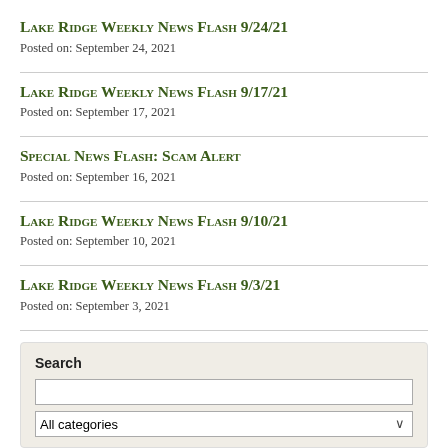Lake Ridge Weekly News Flash 9/24/21
Posted on: September 24, 2021
Lake Ridge Weekly News Flash 9/17/21
Posted on: September 17, 2021
Special News Flash: Scam Alert
Posted on: September 16, 2021
Lake Ridge Weekly News Flash 9/10/21
Posted on: September 10, 2021
Lake Ridge Weekly News Flash 9/3/21
Posted on: September 3, 2021
Search
All categories